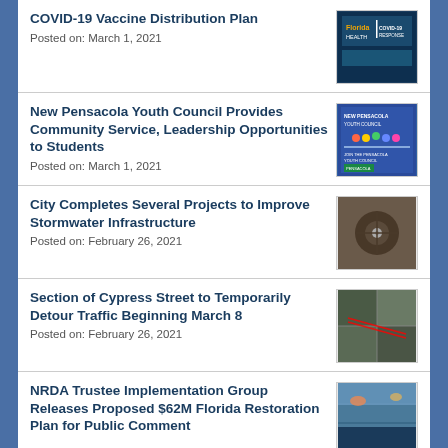COVID-19 Vaccine Distribution Plan
Posted on: March 1, 2021
New Pensacola Youth Council Provides Community Service, Leadership Opportunities to Students
Posted on: March 1, 2021
City Completes Several Projects to Improve Stormwater Infrastructure
Posted on: February 26, 2021
Section of Cypress Street to Temporarily Detour Traffic Beginning March 8
Posted on: February 26, 2021
NRDA Trustee Implementation Group Releases Proposed $62M Florida Restoration Plan for Public Comment